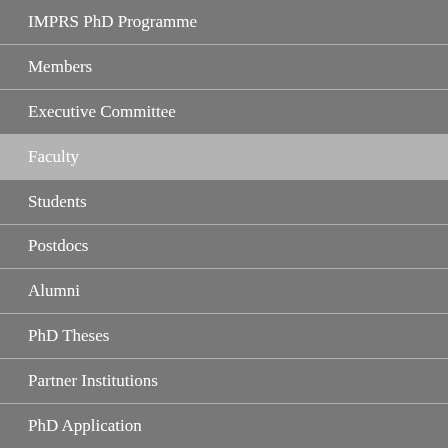IMPRS PhD Programme
Members
Executive Committee
Faculty
Students
Postdocs
Alumni
PhD Theses
Partner Institutions
PhD Application